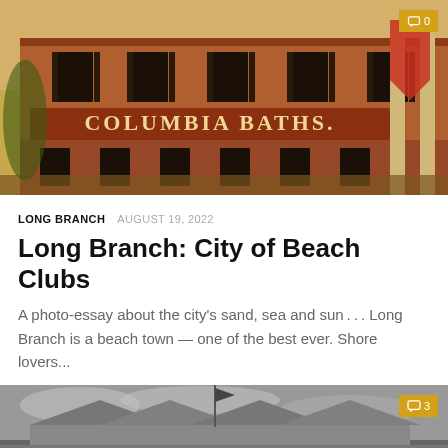[Figure (photo): Historic sepia-toned postcard image of Columbia Baths building at Long Branch, a multi-story brick building with many windows, shutters, and a large sign reading COLUMBIA BATHS on the facade. American flags and bunting visible on the right side. Crowds visible at the bottom.]
LONG BRANCH  AUGUST 19, 2022
Long Branch: City of Beach Clubs
A photo-essay about the city's sand, sea and sun . . . Long Branch is a beach town — one of the best ever. Shore lovers...
[Figure (photo): Black and white historic photograph of a large pavilion-style building at a beach, with a flagpole and tent-like roofline. Stormy or overcast sky in background.]